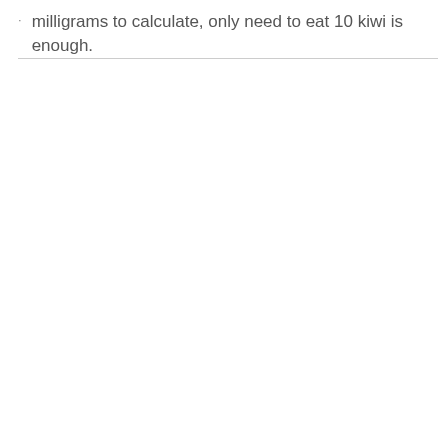milligrams to calculate, only need to eat 10 kiwi is enough.